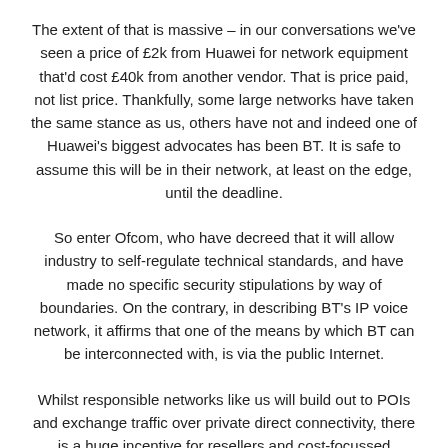The extent of that is massive – in our conversations we've seen a price of £2k from Huawei for network equipment that'd cost £40k from another vendor. That is price paid, not list price. Thankfully, some large networks have taken the same stance as us, others have not and indeed one of Huawei's biggest advocates has been BT. It is safe to assume this will be in their network, at least on the edge, until the deadline.
So enter Ofcom, who have decreed that it will allow industry to self-regulate technical standards, and have made no specific security stipulations by way of boundaries. On the contrary, in describing BT's IP voice network, it affirms that one of the means by which BT can be interconnected with, is via the public Internet.
Whilst responsible networks like us will build out to POIs and exchange traffic over private direct connectivity, there is a huge incentive for resellers and cost-focussed networks to route over public Internet, avoiding the cost of any kind of private connection. Maybe the more modestly astute will